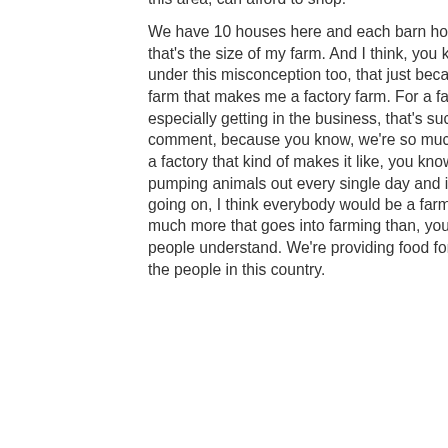this area, can afford to shop.
We have 10 houses here and each barn holds 720 hogs. So that's the size of my farm. And I think, you know, people are under this misconception too, that just because I'm a larger farm that makes me a factory farm. For a farmer like me, especially getting in the business, that's such a derogatory comment, because you know, we're so much more than, than a factory that kind of makes it like, you know, we're just pumping animals out every single day and if that's what was going on, I think everybody would be a farmer. There's so much more that goes into farming than, you know, than people understand. We're providing food for the majority of the people in this country.